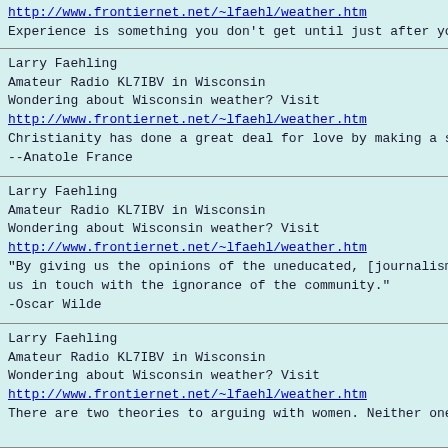http://www.frontiernet.net/~lfaehl/weather.htm
Experience is something you don't get until just after yo
Larry Faehling
Amateur Radio KL7IBV in Wisconsin
Wondering about Wisconsin weather? Visit
http://www.frontiernet.net/~lfaehl/weather.htm
Christianity has done a great deal for love by making a s
--Anatole France
Larry Faehling
Amateur Radio KL7IBV in Wisconsin
Wondering about Wisconsin weather? Visit
http://www.frontiernet.net/~lfaehl/weather.htm
"By giving us the opinions of the uneducated, [journalism
us in touch with the ignorance of the community."
-Oscar Wilde
Larry Faehling
Amateur Radio KL7IBV in Wisconsin
Wondering about Wisconsin weather? Visit
http://www.frontiernet.net/~lfaehl/weather.htm
There are two theories to arguing with women. Neither one